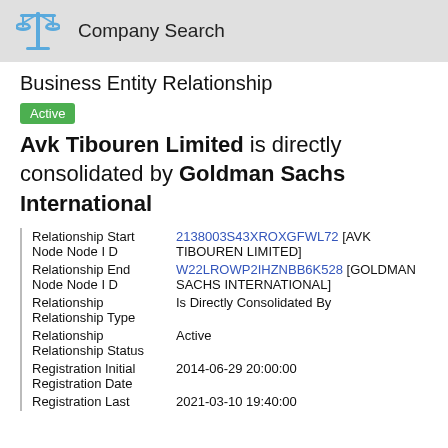Company Search
Business Entity Relationship
Active
Avk Tibouren Limited is directly consolidated by Goldman Sachs International
| Field | Value |
| --- | --- |
| Relationship Start Node Node I D | 2138003S43XROXGFWL72 [AVK TIBOUREN LIMITED] |
| Relationship End Node Node I D | W22LROWP2IHZNBB6K528 [GOLDMAN SACHS INTERNATIONAL] |
| Relationship Relationship Type | Is Directly Consolidated By |
| Relationship Relationship Status | Active |
| Registration Initial Registration Date | 2014-06-29 20:00:00 |
| Registration Last | 2021-03-10 19:40:00 |